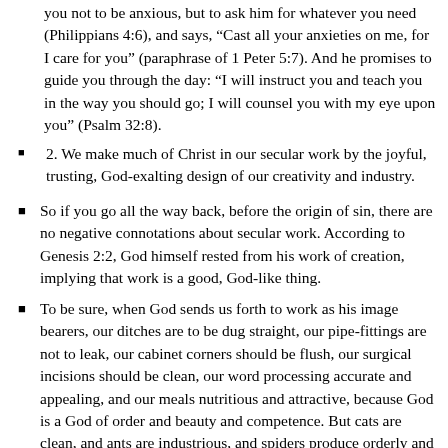you not to be anxious, but to ask him for whatever you need (Philippians 4:6), and says, “Cast all your anxieties on me, for I care for you” (paraphrase of 1 Peter 5:7). And he promises to guide you through the day: “I will instruct you and teach you in the way you should go; I will counsel you with my eye upon you” (Psalm 32:8).
2. We make much of Christ in our secular work by the joyful, trusting, God-exalting design of our creativity and industry.
So if you go all the way back, before the origin of sin, there are no negative connotations about secular work. According to Genesis 2:2, God himself rested from his work of creation, implying that work is a good, God-like thing.
To be sure, when God sends us forth to work as his image bearers, our ditches are to be dug straight, our pipe-fittings are not to leak, our cabinet corners should be flush, our surgical incisions should be clean, our word processing accurate and appealing, and our meals nutritious and attractive, because God is a God of order and beauty and competence. But cats are clean, and ants are industrious, and spiders produce orderly and beautiful works. And all of them are